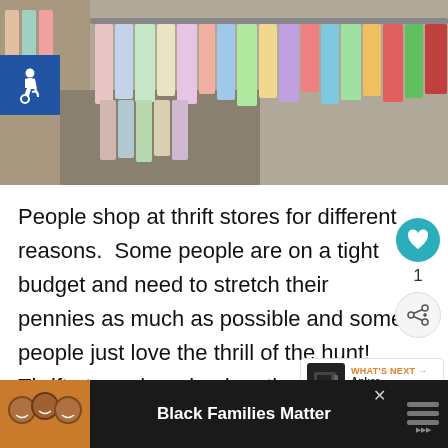[Figure (photo): Rows of colorful clothes hanging on racks in a thrift store, viewed at an angle down the aisle. An accessibility (wheelchair) icon badge is overlaid in the top-left area.]
People shop at thrift stores for different reasons.  Some people are on a tight budget and need to stretch their pennies as much as possible and some people just love the thrill of the hunt!  Thrift store shopping has th... to save you lots of money while furnishing your h...
[Figure (infographic): Sidebar UI: teal circular heart/like button, count '1', and a share button with plus icon.]
[Figure (infographic): WHAT'S NEXT widget showing a camera thumbnail and text 'Anker Wireless...']
[Figure (infographic): Bottom advertisement bar with dark background, photo of smiling family, bold text 'Black Families Matter', close X button, and logo icon.]